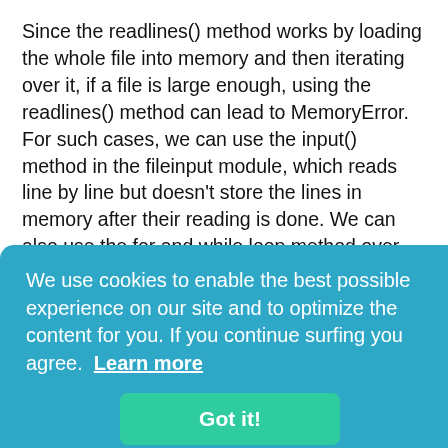Since the readlines() method works by loading the whole file into memory and then iterating over it, if a file is large enough, using the readlines() method can lead to MemoryError. For such cases, we can use the input() method in the fileinput module, which reads line by line but doesn't store the lines in memory after their reading is done. We can also use the for and while loop method over here since we're reading one line at a time and not storing all the data.
We use cookies to enable the best possible experience on our site and to optimize the content for you. If you continue surfing you agree.  Learn more
Got it!